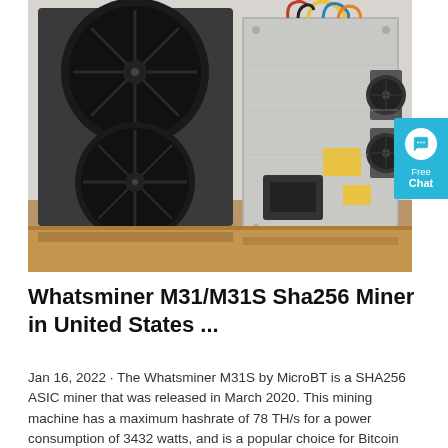[Figure (photo): Photo of two Whatsminer M31/M31S ASIC bitcoin mining machines placed side by side on a wooden surface. The left unit shows two large black cooling fans. The right unit is a silver/gray rectangular box with colorful wiring visible at the top, smaller fans on the right side, and yellow labels on the front.]
Whatsminer M31/M31S Sha256 Miner in United States ...
Jan 16, 2022 · The Whatsminer M31S by MicroBT is a SHA256 ASIC miner that was released in March 2020. This mining machine has a maximum hashrate of 78 TH/s for a power consumption of 3432 watts, and is a popular choice for Bitcoin miners & Sold by